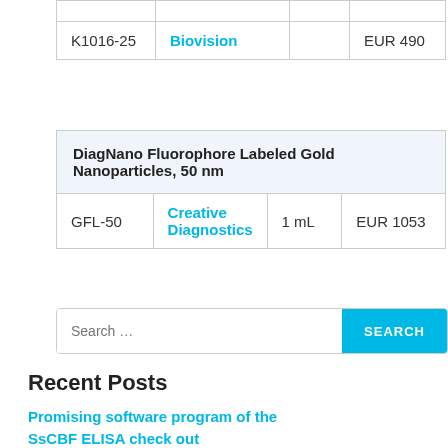|  |  |  |  |
| --- | --- | --- | --- |
| K1016-25 | Biovision |  | EUR 490 |
| DiagNano Fluorophore Labeled Gold Nanoparticles, 50 nm |
| --- |
| GFL-50 | Creative Diagnostics | 1 mL | EUR 1053 |
Search ...
Recent Posts
Promising software program of the
SsCBF ELISA check out